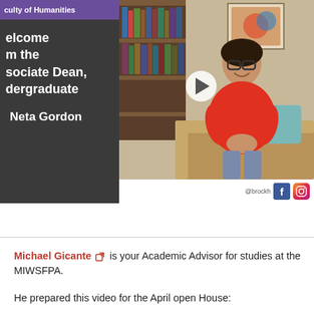[Figure (screenshot): Video thumbnail showing a woman in a red top sitting on a couch in front of a bookshelf, with a play button overlay. Left side has dark panel with purple bar reading 'culty of Humanities' and white text: 'elcome m the sociate Dean, dergraduate Neta Gordon']
Michael Gicante is your Academic Advisor for studies at the MIWSFPA.
He prepared this video for the April open House: